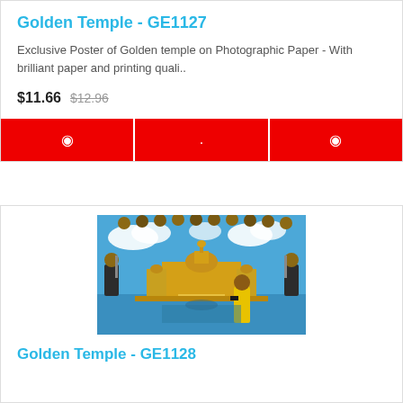Golden Temple - GE1127
Exclusive Poster of Golden temple on Photographic Paper - With brilliant paper and printing quali..
$11.66   $12.96
[Figure (other): Three red action buttons with icons in a horizontal bar]
[Figure (photo): Image of Golden Temple with Sikh gurus pictured above the temple and a person in yellow in the foreground]
Golden Temple - GE1128